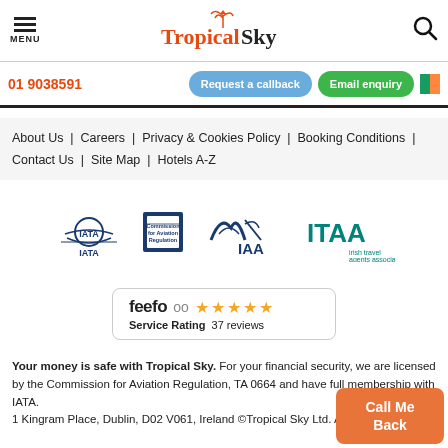MENU | Tropical Sky | Search
01 9038591 | Request a callback | Email enquiry
About Us | Careers | Privacy & Cookies Policy | Booking Conditions | Contact Us | Site Map | Hotels A-Z
[Figure (logo): IATA logo, Commission for Aviation Regulation logo, IAA logo, ITAA Irish Travel Agents Association logo]
[Figure (other): Feefo Service Rating badge with 5 stars and 37 reviews]
Your money is safe with Tropical Sky. For your financial security, we are licensed by the Commission for Aviation Regulation, TA 0664 and have full membership with IATA. 1 Kingram Place, Dublin, D02 V061, Ireland ©Tropical Sky Ltd. All Rights Reserved